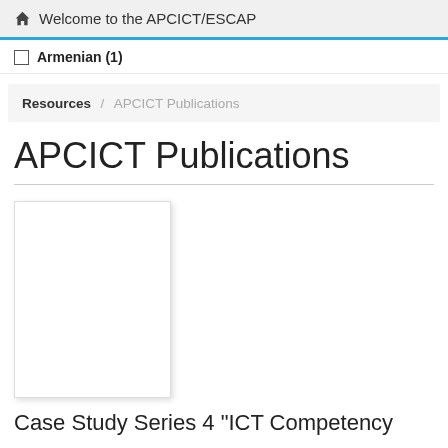Welcome to the APCICT/ESCAP
Armenian (1)
Resources / APCICT Publications
APCICT Publications
[Figure (other): Thumbnail image placeholder for a publication cover (white rectangle with shadow)]
Case Study Series 4 "ICT Competency